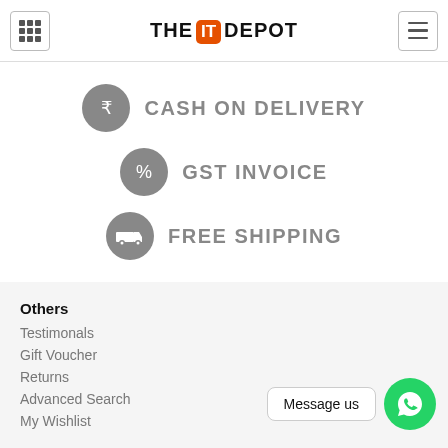THE IT DEPOT — navigation header with grid icon and hamburger menu
CASH ON DELIVERY
GST INVOICE
FREE SHIPPING
Others
Testimonals
Gift Voucher
Returns
Advanced Search
My Wishlist
Message us